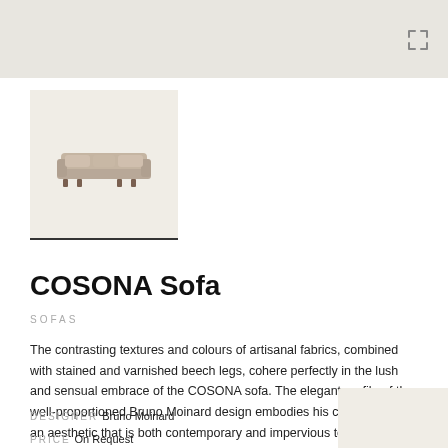[Figure (photo): Top grey/beige banner with expand/fullscreen icon in top right corner]
[Figure (photo): Thumbnail image of the COSONA Sofa on a light beige background with a dark bottom border]
COSONA Sofa
SOFAS
The contrasting textures and colours of artisanal fabrics, combined with stained and varnished beech legs, cohere perfectly in the lush and sensual embrace of the COSONA sofa. The elegant profile of the well-proportioned Bruno Moinard design embodies his commitment to an aesthetic that is both contemporary and impervious to trends. This warm, soft sofa is a pleasure to touch, and invites intimacy and socialization in any interior.
DESIGNER Bruno Moinard
PRICE On Request